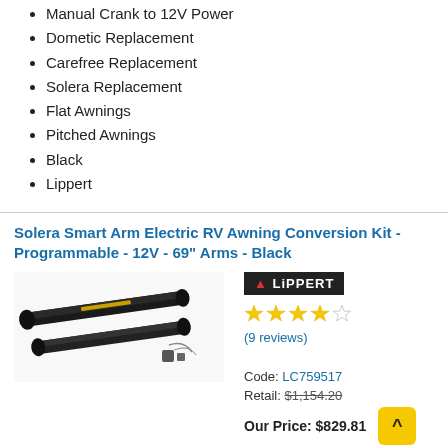Manual Crank to 12V Power
Dometic Replacement
Carefree Replacement
Solera Replacement
Flat Awnings
Pitched Awnings
Black
Lippert
Solera Smart Arm Electric RV Awning Conversion Kit - Programmable - 12V - 69" Arms - Black
[Figure (photo): Product photo of two black electric awning arm tubes with hardware accessories]
[Figure (logo): Lippert brand logo in white text on black background with red icon]
(9 reviews)
Code: LC759517
Retail: $1,154.20
Our Price: $829.81
In Stock